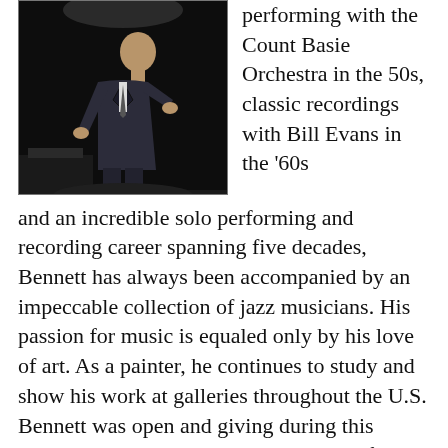[Figure (photo): Black and white photo of a man in a suit performing on stage, likely Tony Bennett, with a dark background]
performing with the Count Basie Orchestra in the 50s, classic recordings with Bill Evans in the ‘60s and an incredible solo performing and recording career spanning five decades, Bennett has always been accompanied by an impeccable collection of jazz musicians. His passion for music is equaled only by his love of art. As a painter, he continues to study and show his work at galleries throughout the U.S. Bennett was open and giving during this interview. In 2009, I had the privilege of photographing him live in concert at the Festival du Jazz de Montreal. At 84, he’s still a powerhouse.
Bill King: You’ve had a remarkable year, beginning with a Grammy for your tribute to Frank Sinatra, ‘Perfectly Frank’, and now the release of ‘Steppin’ Out’, a tribute to Fred Astaire. Is this one of the most fulfilling periods of your life?
Tony Bennett: Yes, it is. Producers often try to change the